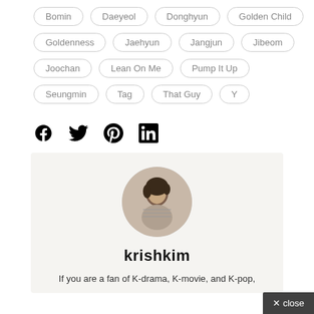Bomin
Daeyeol
Donghyun
Golden Child
Goldenness
Jaehyun
Jangjun
Jibeom
Joochan
Lean On Me
Pump It Up
Seungmin
Tag
That Guy
Y
[Figure (infographic): Social media icons: Facebook, Twitter, Pinterest, LinkedIn]
[Figure (photo): Circular profile photo of a young woman with short dark hair]
krishkim
If you are a fan of K-drama, K-movie, and K-pop,